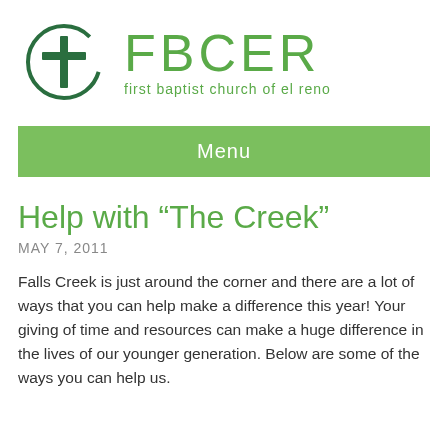[Figure (logo): FBCER logo: circular cross icon in dark green on the left, with large green text 'FBCER' and subtitle 'first baptist church of el reno' on the right]
Menu
Help with “The Creek”
MAY 7, 2011
Falls Creek is just around the corner and there are a lot of ways that you can help make a difference this year! Your giving of time and resources can make a huge difference in the lives of our younger generation. Below are some of the ways you can help us.